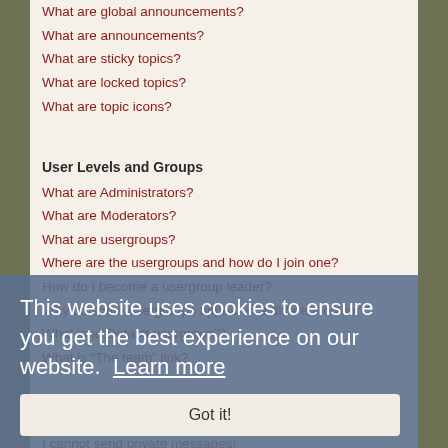What are global announcements?
What are announcements?
What are sticky topics?
What are locked topics?
What are topic icons?
User Levels and Groups
What are Administrators?
What are Moderators?
What are usergroups?
Where are the usergroups and how do I join one?
How do I become a usergroup leader?
Why do some usergroups appear in a different colour?
What is a “Default usergroup”?
What is “The team” link?
Private Messaging
I cannot send private messages!
I keep getting unwanted private messages!
I have received a spamming or abusive email from someone on this board!
Friends and Foes
What are my Friends and Foes lists?
How can I add / remove users to my Friends or Foes list?
Searching the Forums
How can I search a forum or forums?
This website uses cookies to ensure you get the best experience on our website. Learn more